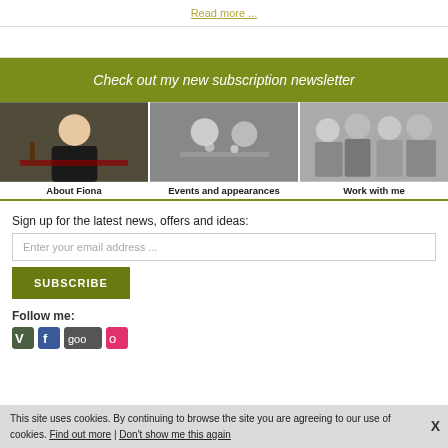Read more ...
Check out my new subscription newsletter
[Figure (photo): Portrait photo of Fiona sitting at a table with wine]
About Fiona
[Figure (photo): Black and white photo of people at a dinner table, clinking glasses]
Events and appearances
[Figure (photo): Black and white group photo of four people standing]
Work with me
Sign up for the latest news, offers and ideas:
Enter your email address ...
SUBSCRIBE
Follow me:
This site uses cookies. By continuing to browse the site you are agreeing to our use of cookies. Find out more | Don't show me this again